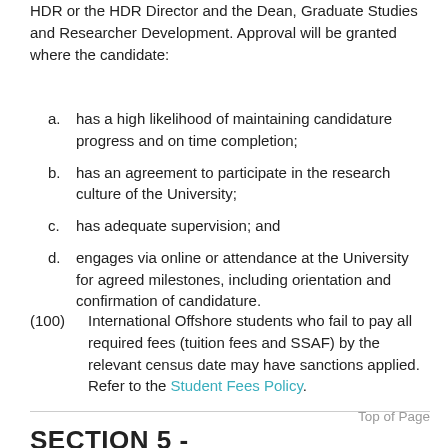HDR or the HDR Director and the Dean, Graduate Studies and Researcher Development. Approval will be granted where the candidate:
a. has a high likelihood of maintaining candidature progress and on time completion;
b. has an agreement to participate in the research culture of the University;
c. has adequate supervision; and
d. engages via online or attendance at the University for agreed milestones, including orientation and confirmation of candidature.
(100)  International Offshore students who fail to pay all required fees (tuition fees and SSAF) by the relevant census date may have sanctions applied. Refer to the Student Fees Policy.
Top of Page
SECTION 5 -